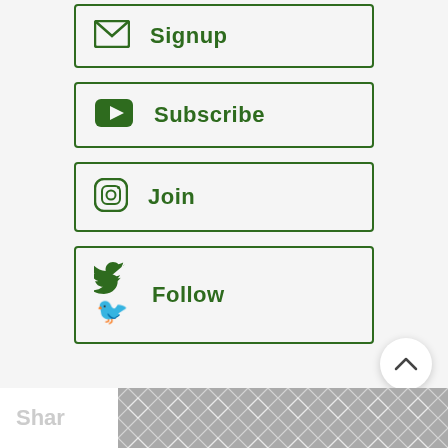[Figure (screenshot): Green bordered button with email/envelope icon and bold green text 'Signup']
[Figure (screenshot): Green bordered button with YouTube play icon and bold green text 'Subscribe']
[Figure (screenshot): Green bordered button with Instagram icon and bold green text 'Join']
[Figure (screenshot): Green bordered button with Twitter bird icon and bold green text 'Follow']
2,398
This How to Make Butter post from the blog archive first published in July 2009 has been republished and updated on 9 August 2021.
Shar